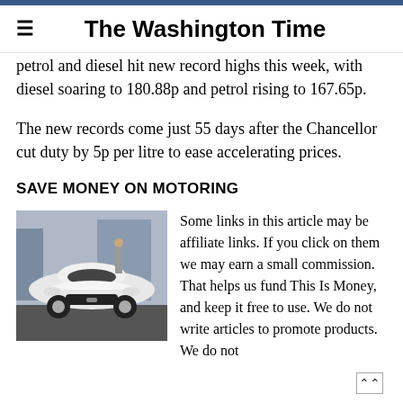The Washington Time
petrol and diesel hit new record highs this week, with diesel soaring to 180.88p and petrol rising to 167.65p.
The new records come just 55 days after the Chancellor cut duty by 5p per litre to ease accelerating prices.
SAVE MONEY ON MOTORING
[Figure (photo): White Jaguar sports car parked on a street, front-facing view]
Some links in this article may be affiliate links. If you click on them we may earn a small commission. That helps us fund This Is Money, and keep it free to use. We do not write articles to promote products. We do not